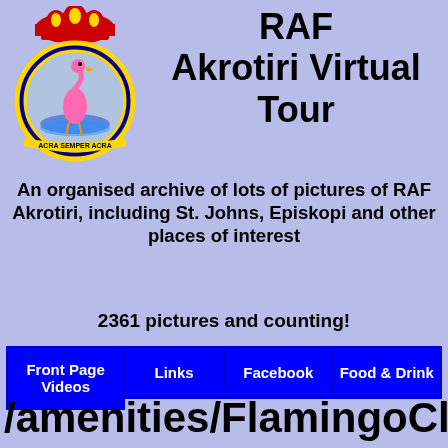[Figure (logo): RAF Akrotiri station crest/badge — circular badge with a flamingo on water, crown on top, gold and blue ring with Latin motto 'ACRA SEMPER ACRA' on a yellow ribbon at the bottom]
RAF Akrotiri Virtual Tour
An organised archive of lots of pictures of RAF Akrotiri, including St. Johns, Episkopi and other places of interest
2361 pictures and counting!
| Front Page Videos | Links | Facebook | Food & Drink |
| --- | --- | --- | --- |
/amenities/FlamingoClub